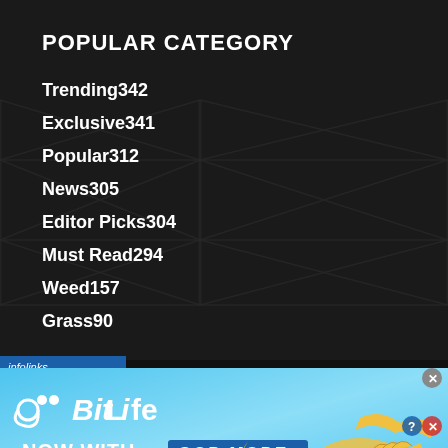POPULAR CATEGORY
Trending342
Exclusive341
Popular312
News305
Editor Picks304
Must Read294
Weed157
Grass90
[Figure (screenshot): BitLife game advertisement banner with 'NOW WITH GOD MODE' text on a light blue background, featuring cartoon hand illustrations and the BitLife logo]
infolinks